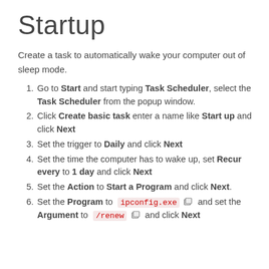Startup
Create a task to automatically wake your computer out of sleep mode.
Go to Start and start typing Task Scheduler, select the Task Scheduler from the popup window.
Click Create basic task enter a name like Start up and click Next
Set the trigger to Daily and click Next
Set the time the computer has to wake up, set Recur every to 1 day and click Next
Set the Action to Start a Program and click Next.
Set the Program to ipconfig.exe and set the Argument to /renew and click Next